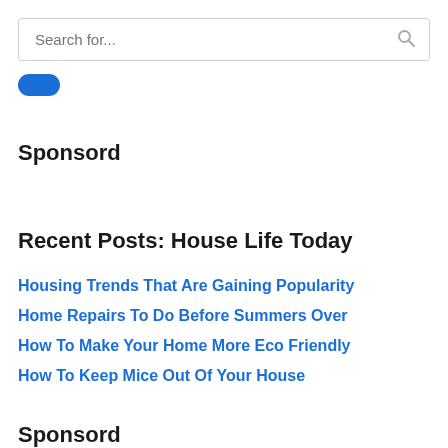[Figure (screenshot): Search bar with placeholder text 'Search for...' and a search icon on the right]
[Figure (other): Small blue oval/pill button]
Sponsord
Recent Posts: House Life Today
Housing Trends That Are Gaining Popularity
Home Repairs To Do Before Summers Over
How To Make Your Home More Eco Friendly
How To Keep Mice Out Of Your House
Sponsord